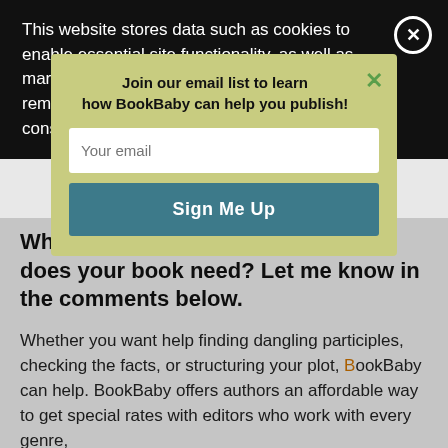This website stores data such as cookies to enable essential site functionality, as well as marketing, personalization, and analytics. By remaining on this website you indicate your consent. Cookie Policy
Which of these editing approaches does your book need? Let me know in the comments below.
Whether you want help finding dangling participles, checking the facts, or structuring your plot, BookBaby can help. BookBaby offers authors an affordable way to get special rates with editors who work with every genre,
Join our email list to learn how BookBaby can help you publish!
Your email
Sign Me Up